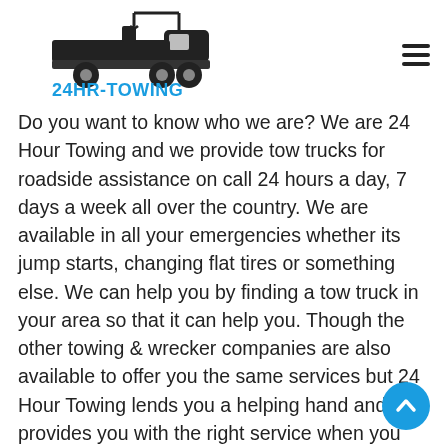[Figure (logo): 24HR-TOWING logo with tow truck silhouette icon and blue text reading 24HR-TOWING]
Do you want to know who we are? We are 24 Hour Towing and we provide tow trucks for roadside assistance on call 24 hours a day, 7 days a week all over the country. We are available in all your emergencies whether its jump starts, changing flat tires or something else. We can help you by finding a tow truck in your area so that it can help you. Though the other towing & wrecker companies are also available to offer you the same services but 24 Hour Towing lends you a helping hand and provides you with the right service when you are caught in a tight situation.